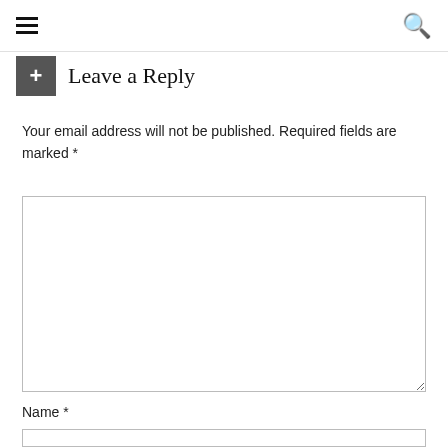Leave a Reply
Your email address will not be published. Required fields are marked *
[Figure (other): Large text area input box for comment entry]
Name *
[Figure (other): Name text input field]